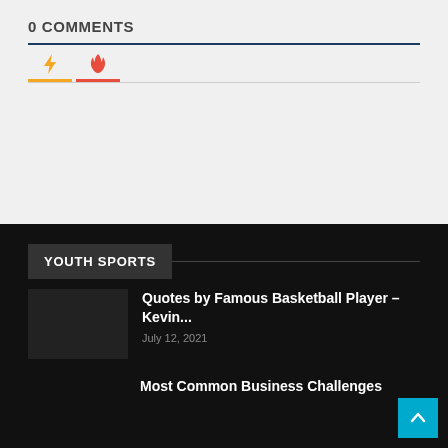0 COMMENTS
[Figure (infographic): Tab bar with lightning bolt icon (orange underline) and fire icon (red underline), representing comment sorting tabs.]
YOUTH SPORTS
Quotes by Famous Basketball Player – Kevin...
July 12, 2021
Most Common Business Challenges